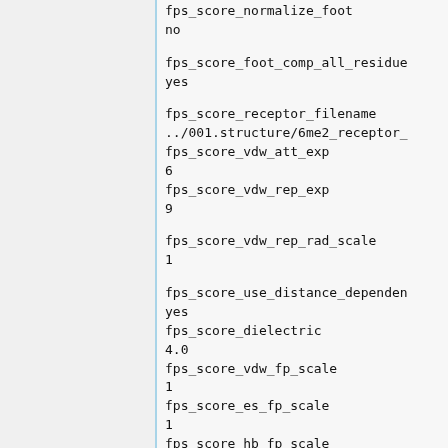fps_score_normalize_foot
no

fps_score_foot_comp_all_residue
yes

fps_score_receptor_filename
../001.structure/6me2_receptor_
 fps_score_vdw_att_exp
6
 fps_score_vdw_rep_exp
9

fps_score_vdw_rep_rad_scale
1

fps_score_use_distance_dependen
yes
 fps_score_dielectric
4.0
 fps_score_vdw_fp_scale
1
 fps_score_es_fp_scale
1
 fps_score_hb_fp_scale